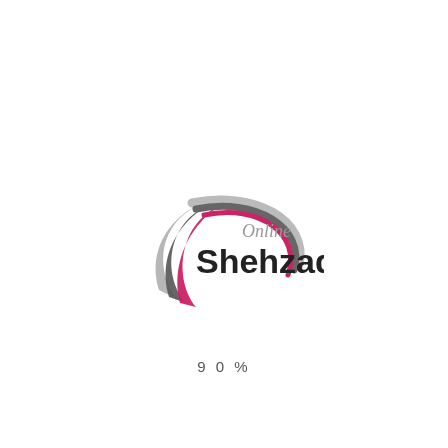[Figure (logo): Shehzad Online logo: swoosh arcs in grey, dark grey, and pink/magenta with bold dark text 'Shehzad' and italic grey text 'Online' above it]
90%